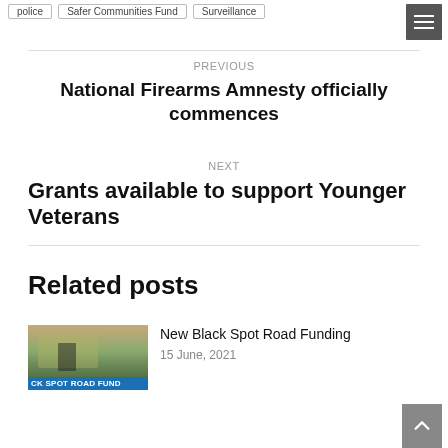police | Safer Communities Fund | Surveillance
PREVIOUS
National Firearms Amnesty officially commences
NEXT
Grants available to support Younger Veterans
Related posts
[Figure (photo): A person standing near a road with a blue banner reading 'CK SPOT ROAD FUND' at the bottom]
New Black Spot Road Funding
15 June, 2021